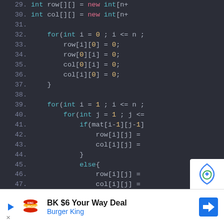[Figure (screenshot): Code editor screenshot showing Java code lines 29-48 with syntax highlighting on dark background. Lines show array initialization and nested for-loops with row/col 2D array operations.]
[Figure (infographic): Burger King advertisement banner: BK $6 Your Way Deal, Burger King, with BK logo and navigation arrow icon.]